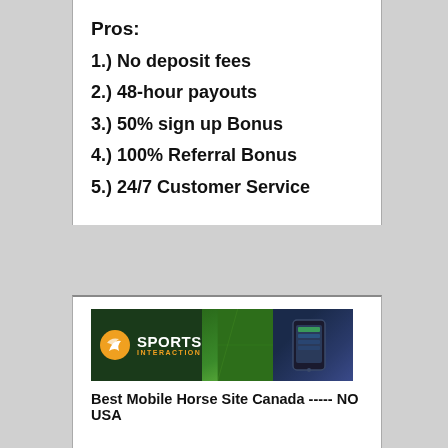Pros:
1.) No deposit fees
2.) 48-hour payouts
3.) 50% sign up Bonus
4.) 100% Referral Bonus
5.) 24/7 Customer Service
[Figure (logo): Sports Interaction logo banner with football field and mobile phone in background]
Best Mobile Horse Site Canada ----- NO USA